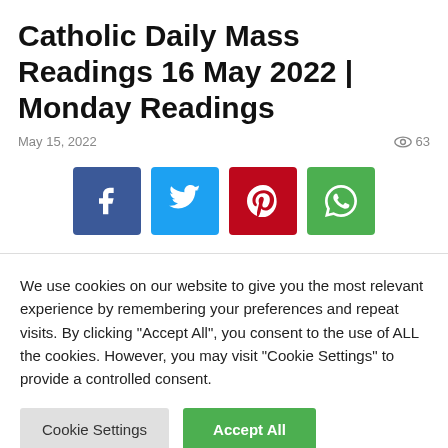Catholic Daily Mass Readings 16 May 2022 | Monday Readings
May 15, 2022
63
[Figure (other): Social share buttons: Facebook, Twitter, Pinterest, WhatsApp]
We use cookies on our website to give you the most relevant experience by remembering your preferences and repeat visits. By clicking "Accept All", you consent to the use of ALL the cookies. However, you may visit "Cookie Settings" to provide a controlled consent.
Cookie Settings   Accept All